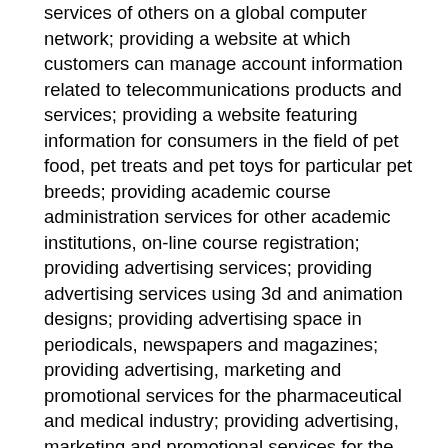services of others on a global computer network; providing a website at which customers can manage account information related to telecommunications products and services; providing a website featuring information for consumers in the field of pet food, pet treats and pet toys for particular pet breeds; providing academic course administration services for other academic institutions, on-line course registration; providing advertising services; providing advertising services using 3d and animation designs; providing advertising space in periodicals, newspapers and magazines; providing advertising, marketing and promotional services for the pharmaceutical and medical industry; providing advertising, marketing and promotional services for the pharmaceutical and medical products of others; providing advice and assistance to commercial entities relating to the establishment and maintenance of business and contractual relationships with federal, state and local governments; providing an incentive award program for dealers and consumers that provides for discounted pricing for and expedited shipping of specified products to the dealers and consumers for their purchases of said specified products; providing an interactive web site for operators of commercial climbing facilities to operate and manage a commercial climbing facility; providing an interactive web site for persons to register complaints against companies